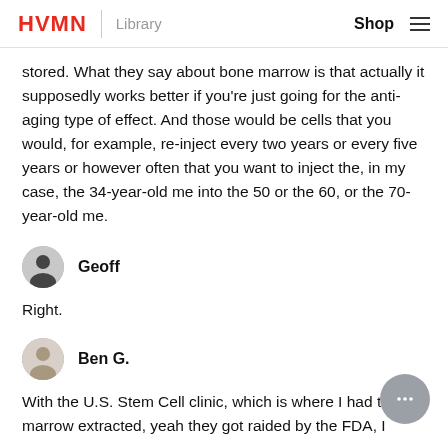HVMN | Library   Shop ≡
stored. What they say about bone marrow is that actually it supposedly works better if you're just going for the anti-aging type of effect. And those would be cells that you would, for example, re-inject every two years or every five years or however often that you want to inject the, in my case, the 34-year-old me into the 50 or the 60, or the 70-year-old me.
Geoff
Right.
Ben G.
With the U.S. Stem Cell clinic, which is where I had the fat marrow extracted, yeah they got raided by the FDA, I